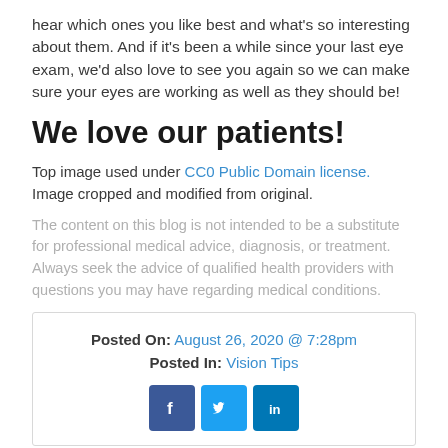hear which ones you like best and what's so interesting about them. And if it's been a while since your last eye exam, we'd also love to see you again so we can make sure your eyes are working as well as they should be!
We love our patients!
Top image used under CC0 Public Domain license. Image cropped and modified from original.
The content on this blog is not intended to be a substitute for professional medical advice, diagnosis, or treatment. Always seek the advice of qualified health providers with questions you may have regarding medical conditions.
Posted On: August 26, 2020 @ 7:28pm
Posted In: Vision Tips